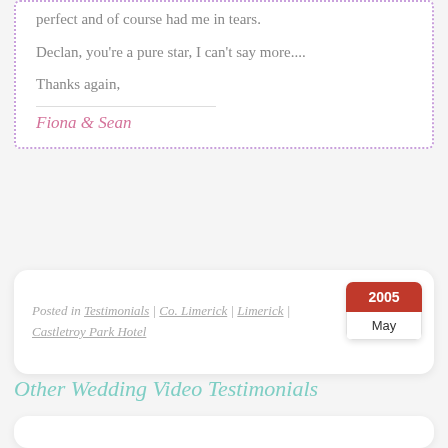perfect and of course had me in tears.
Declan, you're a pure star, I can't say more....
Thanks again,
Fiona & Sean
Posted in Testimonials | Co. Limerick | Limerick | Castletroy Park Hotel
2005
May
Other Wedding Video Testimonials